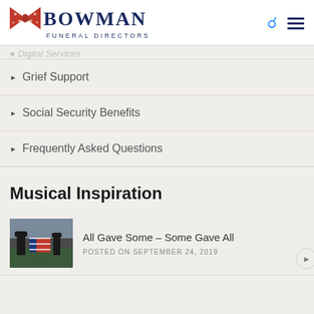BOWMAN FUNERAL DIRECTORS
Digital Services
Grief Support
Social Security Benefits
Frequently Asked Questions
Musical Inspiration
All Gave Some – Some Gave All
POSTED ON SEPTEMBER 24, 2019